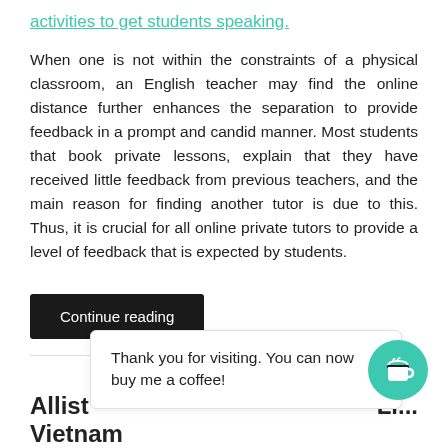activities to get students speaking.
When one is not within the constraints of a physical classroom, an English teacher may find the online distance further enhances the separation to provide feedback in a prompt and candid manner. Most students that book private lessons, explain that they have received little feedback from previous teachers, and the main reason for finding another tutor is due to this. Thus, it is crucial for all online private tutors to provide a level of feedback that is expected by students.
Continue reading
Thank you for visiting. You can now buy me a coffee!
Allist
Li...
Vietnam